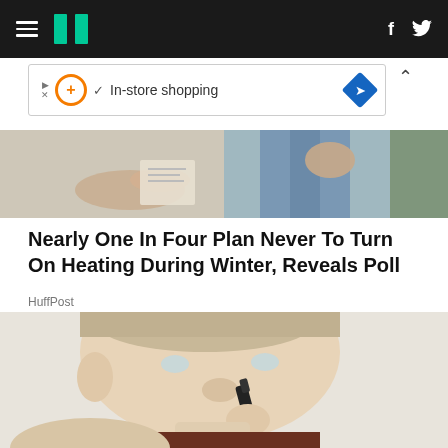HuffPost navigation bar with hamburger menu, logo, Facebook and Twitter icons
[Figure (screenshot): Advertisement banner: play/pause icons, orange circle with plus, checkmark, 'In-store shopping' text, blue diamond navigation icon]
[Figure (photo): Banner strip showing partial images of people using phones/devices]
Nearly One In Four Plan Never To Turn On Heating During Winter, Reveals Poll
HuffPost
[Figure (photo): Close-up photo of a young man using a nose hair trimmer]